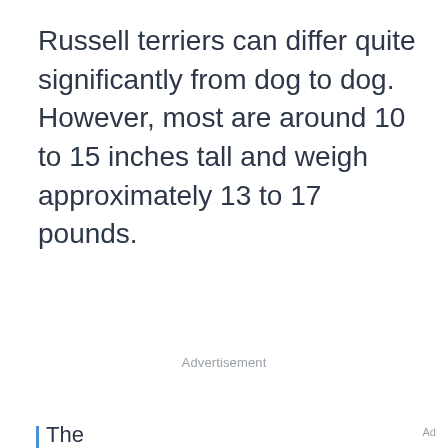Russell terriers can differ quite significantly from dog to dog. However, most are around 10 to 15 inches tall and weigh approximately 13 to 17 pounds.
Advertisement
Ad